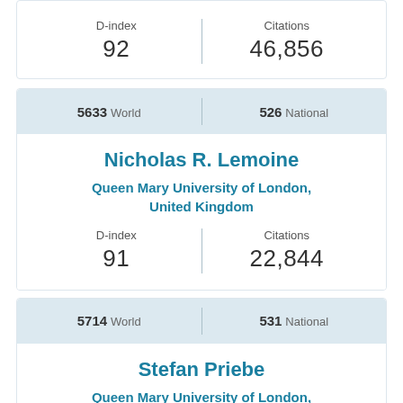| D-index | Citations |
| --- | --- |
| 92 | 46,856 |
| World | National |
| --- | --- |
| 5633 World | 526 National |
Nicholas R. Lemoine
Queen Mary University of London, United Kingdom
| D-index | Citations |
| --- | --- |
| 91 | 22,844 |
| World | National |
| --- | --- |
| 5714 World | 531 National |
Stefan Priebe
Queen Mary University of London, United Kingdom